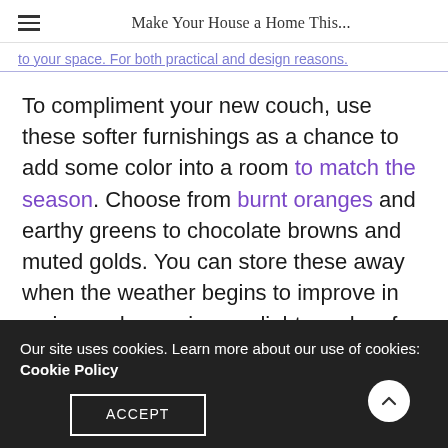Make Your House a Home This...
to your space. For both practical and design reasons.
To compliment your new couch, use these softer furnishings as a chance to add some color into a room to match the season. Choose from burnt oranges and earthy greens to chocolate browns and muted golds. You can store these away when the weather begins to improve in spring and swap in your lighter colors for an instant refresh. Remember not to buy too many soft furnishings or you'll run the risk of your home looking cluttered.
Our site uses cookies. Learn more about our use of cookies: Cookie Policy
ACCEPT